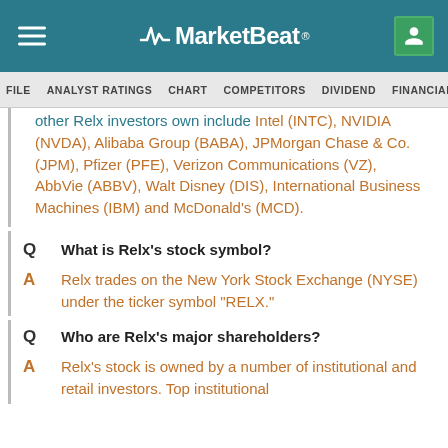MarketBeat
FILE  ANALYST RATINGS  CHART  COMPETITORS  DIVIDEND  FINANCIALS
other Relx investors own include Intel (INTC), NVIDIA (NVDA), Alibaba Group (BABA), JPMorgan Chase & Co. (JPM), Pfizer (PFE), Verizon Communications (VZ), AbbVie (ABBV), Walt Disney (DIS), International Business Machines (IBM) and McDonald's (MCD).
Q  What is Relx's stock symbol?
A  Relx trades on the New York Stock Exchange (NYSE) under the ticker symbol "RELX."
Q  Who are Relx's major shareholders?
A  Relx's stock is owned by a number of institutional and retail investors. Top institutional shareholders include...